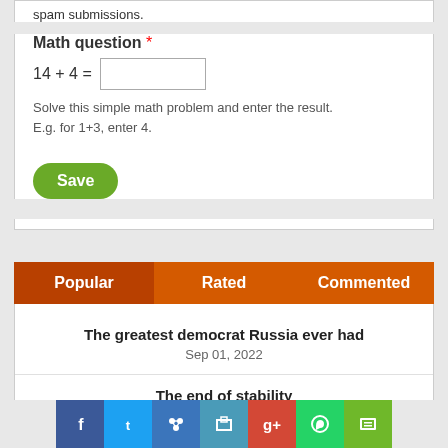spam submissions.
Math question *
Solve this simple math problem and enter the result. E.g. for 1+3, enter 4.
Save
Popular | Rated | Commented
The greatest democrat Russia ever had
Sep 01, 2022
The end of stability
Sep 01, 2022
When starvation the only means Palestinian